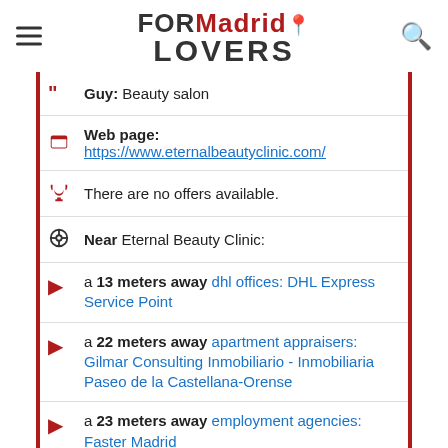FORMadrid LOVERS
Guy: Beauty salon
Web page: https://www.eternalbeautyclinic.com/
There are no offers available.
Near Eternal Beauty Clinic:
a 13 meters away dhl offices: DHL Express Service Point
a 22 meters away apartment appraisers: Gilmar Consulting Inmobiliario - Inmobiliaria Paseo de la Castellana-Orense
a 23 meters away employment agencies: Faster Madrid
Are you the owner of the business? PROMOTE IT!